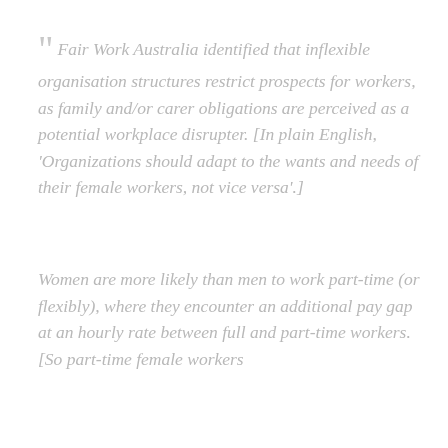“ Fair Work Australia identified that inflexible organisation structures restrict prospects for workers, as family and/or carer obligations are perceived as a potential workplace disrupter. [In plain English, ‘Organizations should adapt to the wants and needs of their female workers, not vice versa’.]
Women are more likely than men to work part-time (or flexibly), where they encounter an additional pay gap at an hourly rate between full and part-time workers. [So part-time female workers